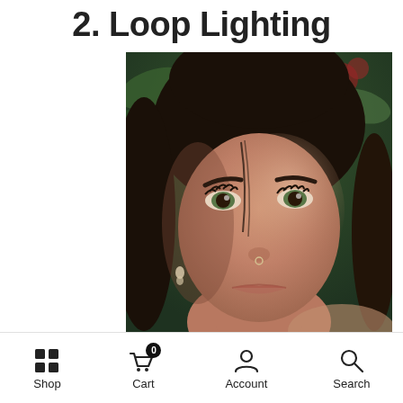2. Loop Lighting
[Figure (photo): Close-up portrait photo of a young woman with dark hair, green eyes, and a nose ring, looking directly at the camera against a blurred green and red foliage background]
Shop   Cart 0   Account   Search